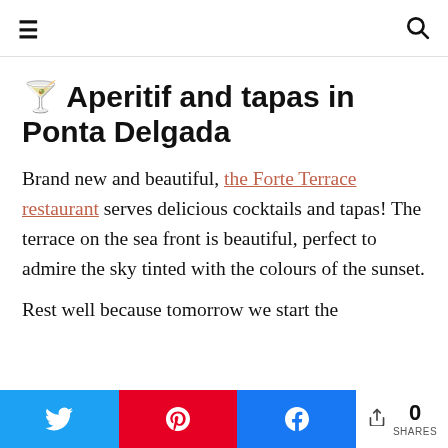≡  [hamburger menu]   [search icon]
🍸 Aperitif and tapas in Ponta Delgada
Brand new and beautiful, the Forte Terrace restaurant serves delicious cocktails and tapas! The terrace on the sea front is beautiful, perfect to admire the sky tinted with the colours of the sunset.
Rest well because tomorrow we start the [continues]
[Figure (infographic): Social sharing bar at bottom: Twitter button (blue), Pinterest button (red), Facebook button (blue), share icon with 0 SHARES]